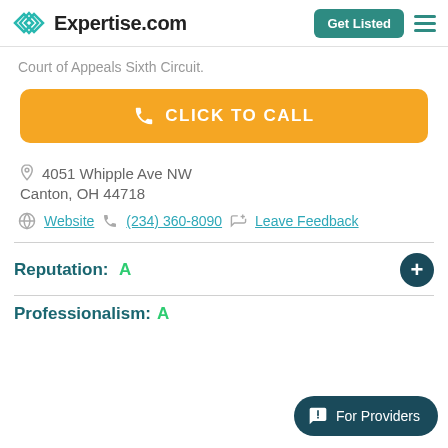Expertise.com
Court of Appeals Sixth Circuit.
CLICK TO CALL
4051 Whipple Ave NW
Canton, OH 44718
Website  (234) 360-8090  Leave Feedback
Reputation: A
Professionalism: A
For Providers